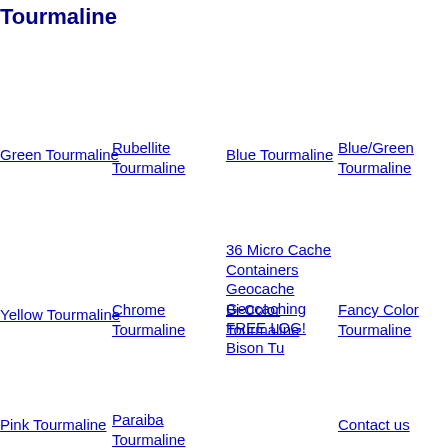Tourmaline
Green Tourmaline
Rubellite Tourmaline
Blue Tourmaline
Blue/Green Tourmaline
36 Micro Cache Containers Geocache Geocaching FREE LOG! Bison Tu
Yellow Tourmaline
Chrome Tourmaline
Bi-Color Tourmaline
Fancy Color Tourmaline
Pink Tourmaline
Paraiba Tourmaline
Contact us